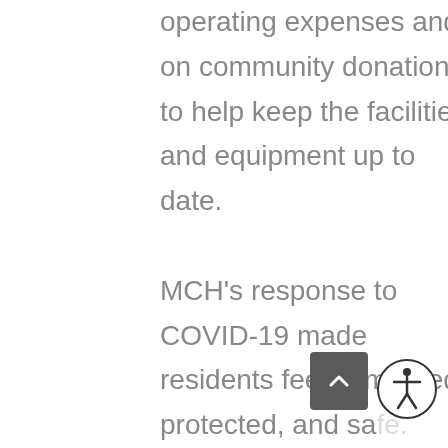operating expenses and on community donations to help keep the facilities and equipment up to date. MCH's response to COVID-19 made residents feel comforted, protected, and safe. It is unimaginable to